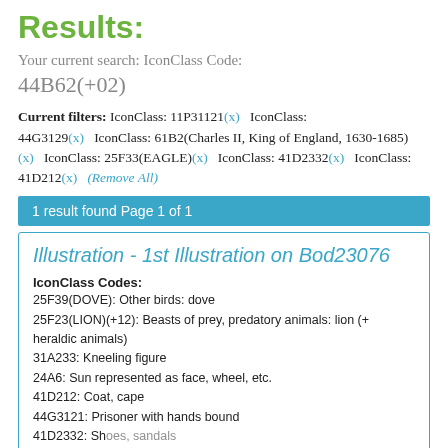Results:
Your current search: IconClass Code:
44B62(+02)
Current filters: IconClass: 11P31121(x)   IconClass: 44G3129(x)   IconClass: 61B2(Charles II, King of England, 1630-1685)(x)   IconClass: 25F33(EAGLE)(x)   IconClass: 41D2332(x)   IconClass: 41D212(x)   (Remove All)
1 result found Page 1 of 1
Illustration - 1st Illustration on Bod23076
IconClass Codes:
25F39(DOVE): Other birds: dove
25F23(LION)(+12): Beasts of prey, predatory animals: lion (+ heraldic animals)
31A233: Kneeling figure
24A6: Sun represented as face, wheel, etc.
41D212: Coat, cape
44G3121: Prisoner with hands bound
41D2332: Shoes, sandals